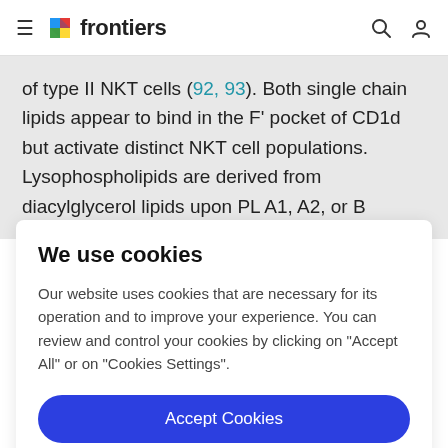frontiers
of type II NKT cells (92, 93). Both single chain lipids appear to bind in the F' pocket of CD1d but activate distinct NKT cell populations. Lysophospholipids are derived from diacylglycerol lipids upon PL A1, A2, or B
We use cookies
Our website uses cookies that are necessary for its operation and to improve your experience. You can review and control your cookies by clicking on "Accept All" or on "Cookies Settings".
Accept Cookies
Cookies Settings